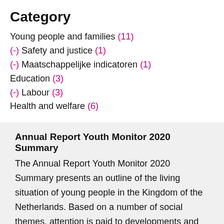Category
Young people and families (11)
(-) Safety and justice (1)
(-) Maatschappelijke indicatoren (1)
Education (3)
(-) Labour (3)
Health and welfare (6)
Annual Report Youth Monitor 2020 Summary
The Annual Report Youth Monitor 2020 Summary presents an outline of the living situation of young people in the Kingdom of the Netherlands. Based on a number of social themes, attention is paid to developments and regional differences. At local level, a description of youth in the Caribbean Netherlands is included.